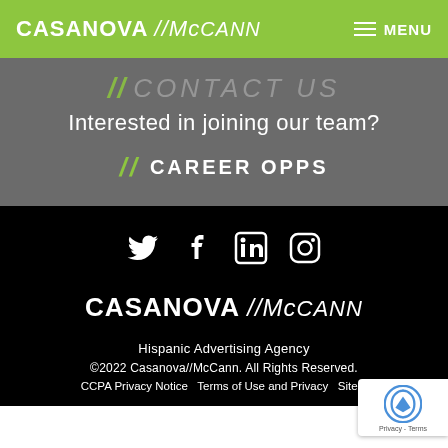CASANOVA // McCann     ≡ MENU
// CONTACT US
Interested in joining our team?
// CAREER OPPS
[Figure (illustration): Social media icons: Twitter, Facebook, LinkedIn, Instagram in white on black background]
[Figure (logo): CASANOVA // McCann logo in white on black background]
Hispanic Advertising Agency
©2022 Casanova//McCann. All Rights Reserved.  CCPA Privacy Notice  Terms of Use and Privacy  Sitemap
[Figure (other): reCAPTCHA badge with Privacy - Terms text]